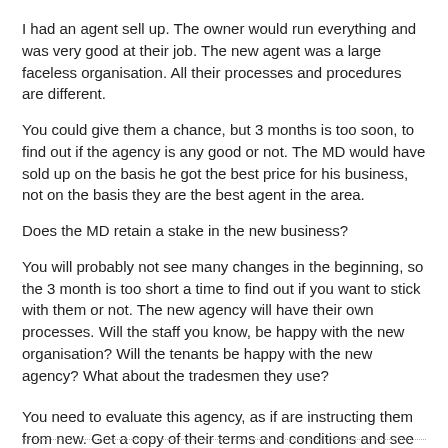I had an agent sell up. The owner would run everything and was very good at their job. The new agent was a large faceless organisation. All their processes and procedures are different.
You could give them a chance, but 3 months is too soon, to find out if the agency is any good or not. The MD would have sold up on the basis he got the best price for his business, not on the basis they are the best agent in the area.
Does the MD retain a stake in the new business?
You will probably not see many changes in the beginning, so the 3 month is too short a time to find out if you want to stick with them or not. The new agency will have their own processes. Will the staff you know, be happy with the new organisation? Will the tenants be happy with the new agency? What about the tradesmen they use?
You need to evaluate this agency, as if are instructing them from new. Get a copy of their terms and conditions and see how they work.